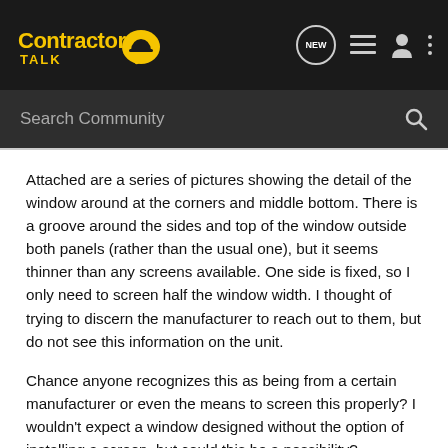Contractor Talk [logo] — NEW | list | user | more
Search Community
Attached are a series of pictures showing the detail of the window around at the corners and middle bottom. There is a groove around the sides and top of the window outside both panels (rather than the usual one), but it seems thinner than any screens available. One side is fixed, so I only need to screen half the window width. I thought of trying to discern the manufacturer to reach out to them, but do not see this information on the unit.
Chance anyone recognizes this as being from a certain manufacturer or even the means to screen this properly? I wouldn't expect a window designed without the option of installing a screen, but could this be a possibility?